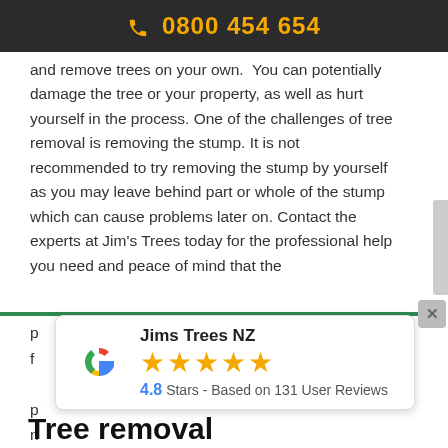0800 454 654
and remove trees on your own.  You can potentially damage the tree or your property, as well as hurt yourself in the process. One of the challenges of tree removal is removing the stump. It is not recommended to try removing the stump by yourself as you may leave behind part or whole of the stump which can cause problems later on. Contact the experts at Jim's Trees today for the professional help you need and peace of mind that the
[Figure (infographic): Google review badge for Jims Trees NZ showing 4.8 stars based on 131 user reviews, with the Google G logo and 5 gold stars.]
Tree removal